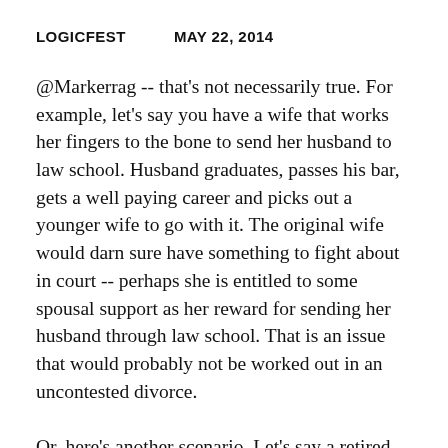LOGICFEST    MAY 22, 2014
@Markerrag -- that's not necessarily true. For example, let's say you have a wife that works her fingers to the bone to send her husband to law school. Husband graduates, passes his bar, gets a well paying career and picks out a younger wife to go with it. The original wife would darn sure have something to fight about in court -- perhaps she is entitled to some spousal support as her reward for sending her husband through law school. That is an issue that would probably not be worked out in an uncontested divorce.
Or, here's another scenario. Let's say a retired